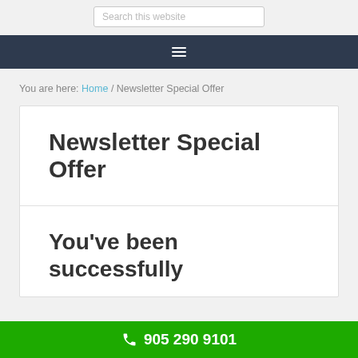Search this website
[Figure (other): Navigation hamburger menu icon (three horizontal lines) on dark navy background]
You are here: Home / Newsletter Special Offer
Newsletter Special Offer
You've been successfully
905 290 9101